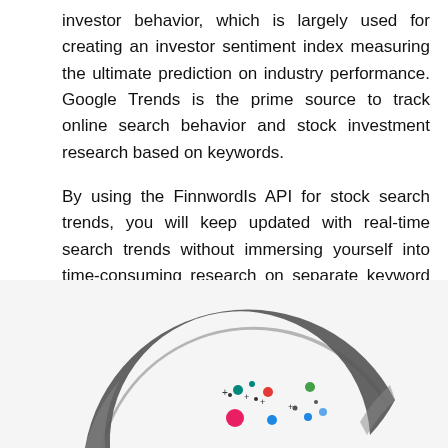investor behavior, which is largely used for creating an investor sentiment index measuring the ultimate prediction on industry performance. Google Trends is the prime source to track online search behavior and stock investment research based on keywords.
By using the FinnwordIs API for stock search trends, you will keep updated with real-time search trends without immersing yourself into time-consuming research on separate keyword phrases and keywords every single time.
[Figure (other): Partial view of a dark curved arc shape (resembling a gauge or donut chart arc) with colorful scattered dots (teal, red, blue, pink, green) visible in the lower portion, suggesting a data visualization tool interface.]